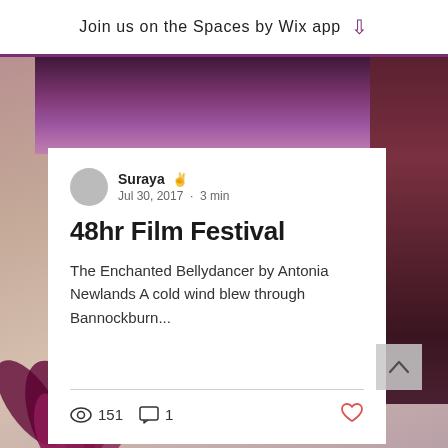Join us on the Spaces by Wix app
[Figure (screenshot): Blog post card showing author Suraya with quill icon, date Jul 30, 2017, 3 min read, title '48hr Film Festival', excerpt about The Enchanted Bellydancer, view count 151, comment count 1, and a heart icon. Background shows decorative photo with purple fabric and flowers.]
48hr Film Festival
The Enchanted Bellydancer by Antonia Newlands A cold wind blew through Bannockburn...